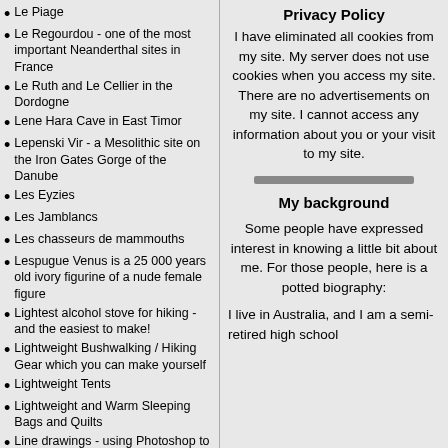Le Piage
Le Regourdou - one of the most important Neanderthal sites in France
Le Ruth and Le Cellier in the Dordogne
Lene Hara Cave in East Timor
Lepenski Vir - a Mesolithic site on the Iron Gates Gorge of the Danube
Les Eyzies
Les Jamblancs
Les chasseurs de mammouths
Lespugue Venus is a 25 000 years old ivory figurine of a nude female figure
Lightest alcohol stove for hiking - and the easiest to make!
Lightweight Bushwalking / Hiking Gear which you can make yourself
Lightweight Tents
Lightweight and Warm Sleeping Bags and Quilts
Line drawings - using Photoshop to clean up photographs of line drawings
Lion Man from Ulm
Liujiang cranium, more than 40 000 years old, of a modern Homo sapiens
Lonetal Sites, including Aurignacian sites in the Swabian Alb near the city of Ulm
Longbow replica
Privacy Policy
I have eliminated all cookies from my site. My server does not use cookies when you access my site. There are no advertisements on my site. I cannot access any information about you or your visit to my site.
My background
Some people have expressed interest in knowing a little bit about me. For those people, here is a potted biography:
I live in Australia, and I am a semi-retired high school